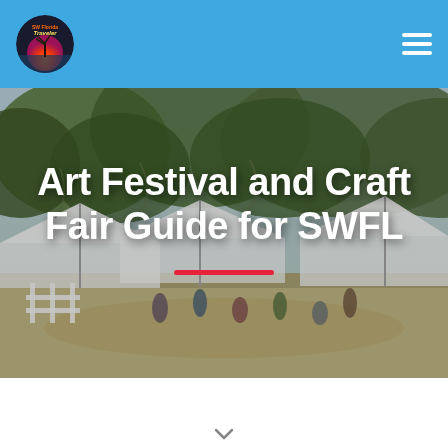SW Florida Traveler — navigation bar with logo and hamburger menu
[Figure (photo): Outdoor art festival or craft fair scene under large oak trees with white vendor tents and people walking around on a sunny day]
Art Festival and Craft Fair Guide for SWFL